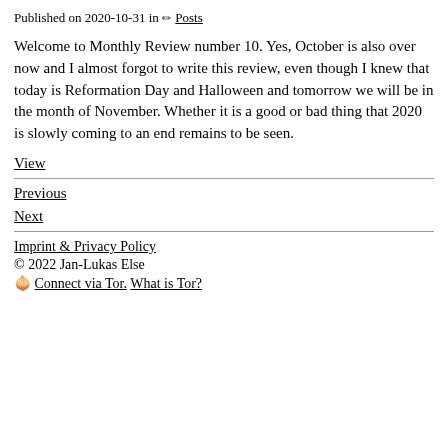Published on 2020-10-31 in ✏ Posts
Welcome to Monthly Review number 10. Yes, October is also over now and I almost forgot to write this review, even though I knew that today is Reformation Day and Halloween and tomorrow we will be in the month of November. Whether it is a good or bad thing that 2020 is slowly coming to an end remains to be seen.
View
Previous
Next
Imprint & Privacy Policy
© 2022 Jan-Lukas Else
🧅 Connect via Tor. What is Tor?